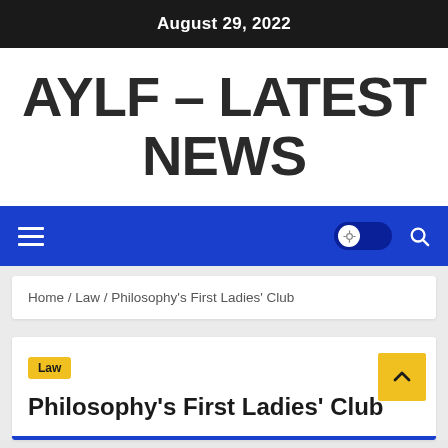August 29, 2022
AYLF – LATEST NEWS
[Figure (screenshot): Blue navigation bar with hamburger menu on left, dark mode toggle and search icon on right]
Home / Law / Philosophy's First Ladies' Club
Law
Philosophy's First Ladies' Club